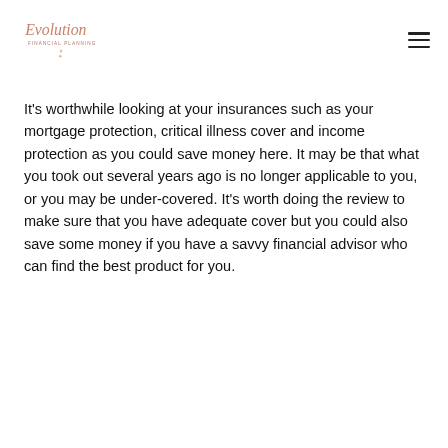Evolution Financial Planning [logo] [hamburger menu]
It's worthwhile looking at your insurances such as your mortgage protection, critical illness cover and income protection as you could save money here. It may be that what you took out several years ago is no longer applicable to you, or you may be under-covered. It's worth doing the review to make sure that you have adequate cover but you could also save some money if you have a savvy financial advisor who can find the best product for you.